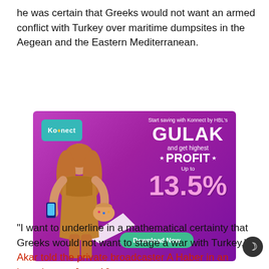he was certain that Greeks would not want an armed conflict with Turkey over maritime dumpsites in the Aegean and the Eastern Mediterranean.
[Figure (photo): Advertisement for Konnect by HBL's GULAK savings product. Purple/magenta background with a woman in a mustard dress holding a phone and a decorative pot. Text reads: Start saving with Konnect by HBL's GULAK and get highest PROFIT Up to 13.5%. Download Now button in teal. Konnect logo in top left corner.]
"I want to underline in a mathematical certainty that Greeks would not want to stage a war with Turkey," Akar told the private broadcaster A Haber in an interview on June 10.